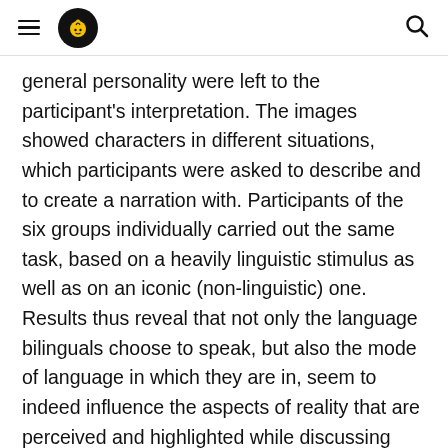≡ [logo] [search]
general personality were left to the participant's interpretation. The images showed characters in different situations, which participants were asked to describe and to create a narration with. Participants of the six groups individually carried out the same task, based on a heavily linguistic stimulus as well as on an iconic (non-linguistic) one. Results thus reveal that not only the language bilinguals choose to speak, but also the mode of language in which they are in, seem to indeed influence the aspects of reality that are perceived and highlighted while discussing events narrated in a certain language.
Jeroen van Ravenhorst (15:15 - 15:35)